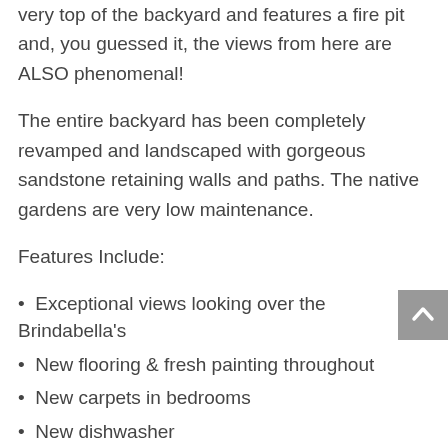very top of the backyard and features a fire pit and, you guessed it, the views from here are ALSO phenomenal!
The entire backyard has been completely revamped and landscaped with gorgeous sandstone retaining walls and paths. The native gardens are very low maintenance.
Features Include:
Exceptional views looking over the Brindabella's
New flooring & fresh painting throughout
New carpets in bedrooms
New dishwasher
New front deck
Newly painted roof
New Colorbond fencing